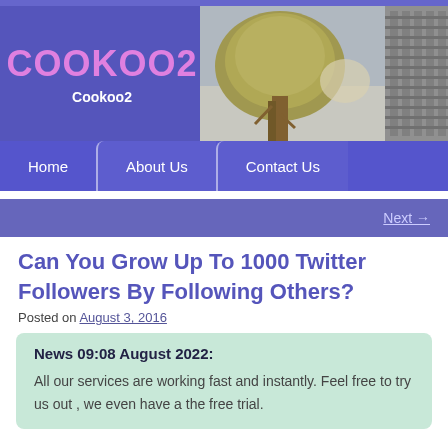COOKOO2 | Cookoo2
Can You Grow Up To 1000 Twitter Followers By Following Others?
Posted on August 3, 2016
News 09:08 August 2022:
All our services are working fast and instantly. Feel free to try us out , we even have a the free trial.